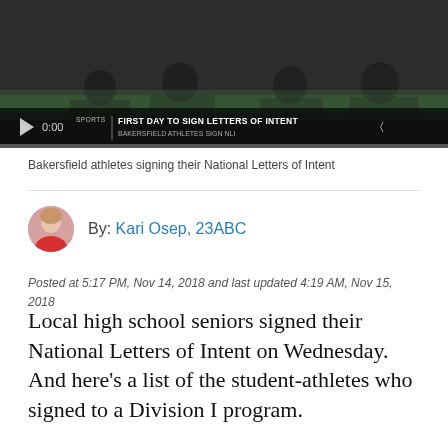[Figure (screenshot): Video player showing Bakersfield athletes signing their National Letters of Intent. Bottom bar shows play button, time code 0:00, title 'FIRST DAY TO SIGN LETTERS OF INTENT' with SPORTS label. Progress bar at bottom.]
Bakersfield athletes signing their National Letters of Intent
By: Kari Osep, 23ABC
Posted at 5:17 PM, Nov 14, 2018 and last updated 4:19 AM, Nov 15, 2018
Local high school seniors signed their National Letters of Intent on Wednesday. And here’s a list of the student-athletes who signed to a Division I program.